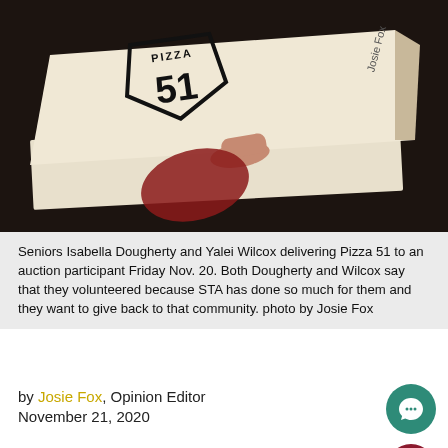[Figure (photo): Photo of pizza boxes (Pizza 51) being held, showing the top of the box with the Pizza 51 logo on a dark background]
Seniors Isabella Dougherty and Yalei Wilcox delivering Pizza 51 to an auction participant Friday Nov. 20. Both Dougherty and Wilcox say that they volunteered because STA has done so much for them and they want to give back to that community. photo by Josie Fox
by Josie Fox, Opinion Editor
November 21, 2020
In the midst of the COVID-19 pandemic, St. Teresa's Academy hosted a virtual auction this Friday Nov. 2… The 2020 Auction opened with a pre-show at 7:00 p.m.